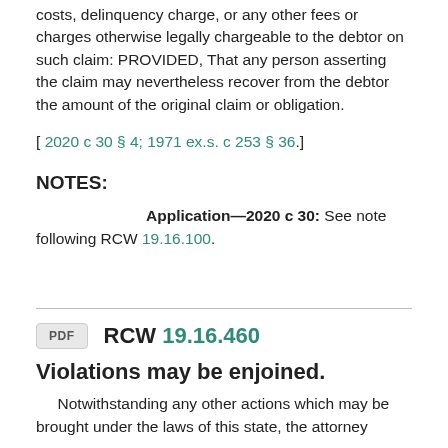costs, delinquency charge, or any other fees or charges otherwise legally chargeable to the debtor on such claim: PROVIDED, That any person asserting the claim may nevertheless recover from the debtor the amount of the original claim or obligation.
[ 2020 c 30 § 4; 1971 ex.s. c 253 § 36.]
NOTES:
Application—2020 c 30: See note following RCW 19.16.100.
RCW 19.16.460
Violations may be enjoined.
Notwithstanding any other actions which may be brought under the laws of this state, the attorney